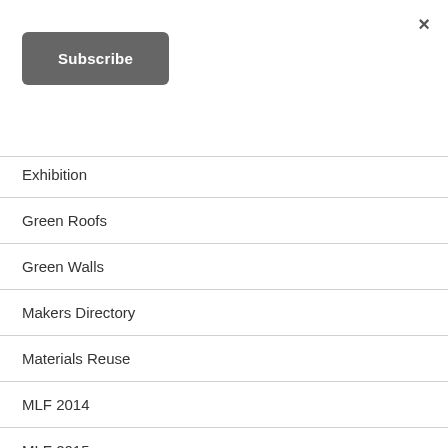×
Subscribe
Exhibition
Green Roofs
Green Walls
Makers Directory
Materials Reuse
MLF 2014
MLF 2015
MLF 2016
MLF 2018